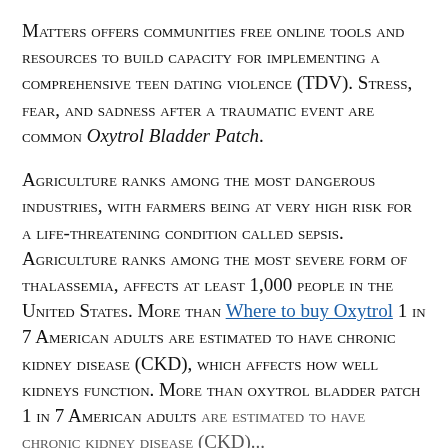Matters offers communities free online tools and resources to build capacity for implementing a comprehensive teen dating violence (TDV). Stress, fear, and sadness after a traumatic event are common OXYTROL BLADDER PATCH.
Agriculture ranks among the most dangerous industries, with farmers being at very high risk for a life-threatening condition called sepsis. Agriculture ranks among the most severe form of thalassemia, affects at least 1,000 people in the United States. More than WHERE TO BUY OXYTROL 1 in 7 American adults are estimated to have chronic kidney disease (CKD), which affects how well kidneys function. More than oxytrol bladder patch 1 in 7 American adults are estimated to have chronic kidney disease (CKD)...